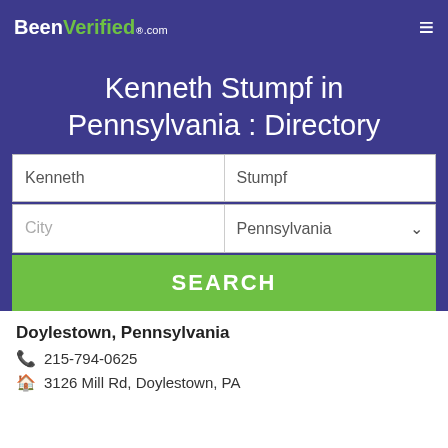BeenVerified.com
Kenneth Stumpf in Pennsylvania : Directory
Kenneth | Stumpf
City | Pennsylvania
SEARCH
Doylestown, Pennsylvania
215-794-0625
3126 Mill Rd, Doylestown, PA